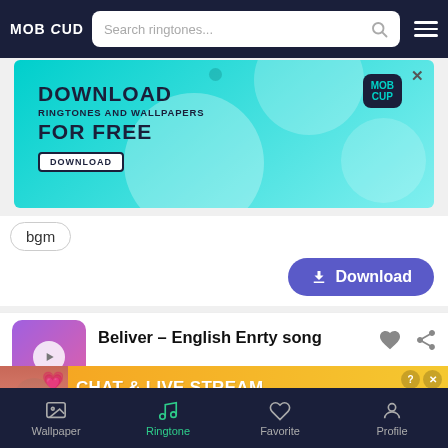MOB CUP — Search ringtones...
[Figure (screenshot): MobCup advertisement banner: DOWNLOAD RINGTONES AND WALLPAPERS FOR FREE with a download button, teal gradient background with decorative circles and MobCup badge]
bgm
Download
Beliver – English Enrty song
39791
[Figure (screenshot): Orange advertisement banner: CHAT & LIVE STREAM with clover branding, featuring a woman photo with heart emojis]
Wallpaper | Ringtone | Favorite | Profile